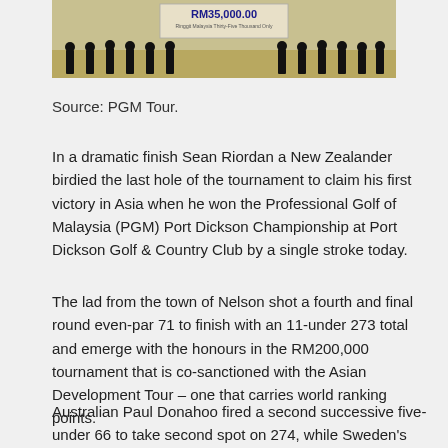[Figure (photo): Group photo of people standing outdoors holding a cheque for RM35,000.00 (Ringgit Malaysia Thirty-Five Thousand Only)]
Source: PGM Tour.
In a dramatic finish Sean Riordan a New Zealander birdied the last hole of the tournament to claim his first victory in Asia when he won the Professional Golf of Malaysia (PGM) Port Dickson Championship at Port Dickson Golf & Country Club by a single stroke today.
The lad from the town of Nelson shot a fourth and final round even-par 71 to finish with an 11-under 273 total and emerge with the honours in the RM200,000 tournament that is co-sanctioned with the Asian Development Tour – one that carries world ranking points.
Australian Paul Donahoo fired a second successive five-under 66 to take second spot on 274, while Sweden's Oskar Arvidsson (66) and...